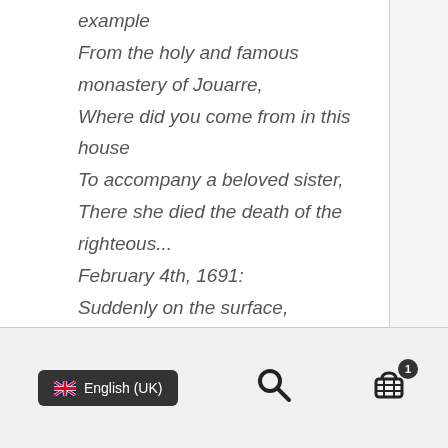example
From the holy and famous monastery of Jouarre,
Where did you come from in this house
To accompany a beloved sister,
There she died the death of the righteous...
February 4th, 1691:
Suddenly on the surface,
Indeed with the same preparations
That if she had been warned of its end...
English (UK) [search] [cart 1]